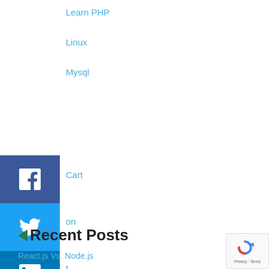Learn PHP
Linux
Mysql
Cart
on
t
nology Update News
Press
[Figure (infographic): Social share sidebar with Facebook (blue), Twitter (light blue), LinkedIn (dark blue), Pinterest (red), Reddit (light blue/grey), Mix (orange/white) buttons]
Recent Posts
React.js Vs. Node.js
[Figure (logo): reCAPTCHA badge in bottom right corner showing reCAPTCHA logo with Privacy and Terms links]